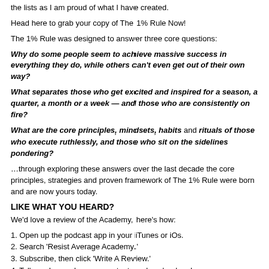the lists as I am proud of what I have created.
Head here to grab your copy of The 1% Rule Now!
The 1% Rule was designed to answer three core questions:
Why do some people seem to achieve massive success in everything they do, while others can't even get out of their own way?
What separates those who get excited and inspired for a season, a quarter, a month or a week — and those who are consistently on fire?
What are the core principles, mindsets, habits and rituals of those who execute ruthlessly, and those who sit on the sidelines pondering?
…through exploring these answers over the last decade the core principles, strategies and proven framework of The 1% Rule were born and are now yours today.
LIKE WHAT YOU HEARD?
We'd love a review of the Academy, here's how:
1. Open up the podcast app in your iTunes or iOs.
2. Search 'Resist Average Academy.'
3. Subscribe, then click 'Write A Review.'
4. Tell us why you love our content, and you're done!
5. Your review will post within 24-48 hours.